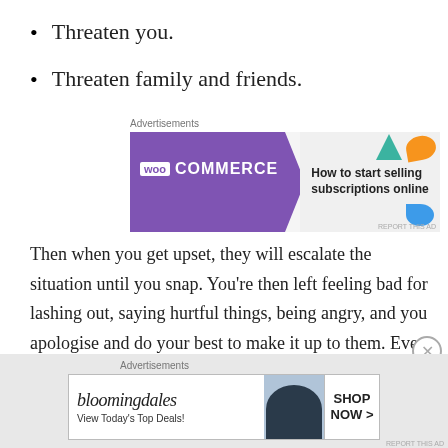Threaten you.
Threaten family and friends.
[Figure (other): WooCommerce advertisement banner: 'How to start selling subscriptions online']
Then when you get upset, they will escalate the situation until you snap. You’re then left feeling bad for lashing out, saying hurtful things, being angry, and you apologise and do your best to make it up to them. Even though you know your reactions were wrong, you end up blaming it all on you, not paying attention to the part
[Figure (other): Bloomingdale's advertisement banner: 'View Today’s Top Deals! SHOP NOW >']